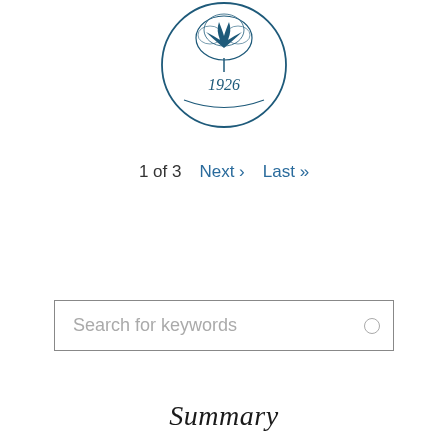[Figure (logo): Circular institutional seal/logo with decorative emblem and the year 1926, rendered in dark teal/navy blue]
1 of 3   Next ›   Last »
Search for keywords
Summary